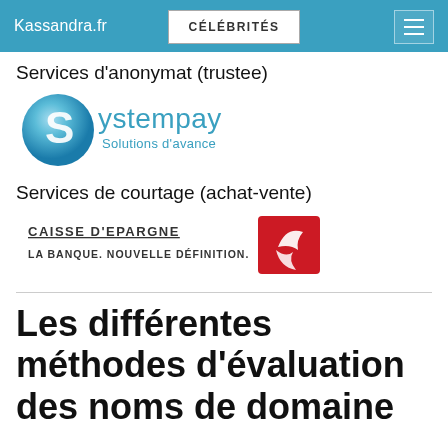Kassandra.fr | CÉLÉBRITÉS
Services d'anonymat (trustee)
[Figure (logo): Systempay logo: blue sphere with letter S and text 'Systempay Solutions d'avance']
Services de courtage (achat-vente)
[Figure (logo): Caisse d'Epargne logo: red square with stylized squirrel icon, text 'CAISSE D'EPARGNE LA BANQUE. NOUVELLE DÉFINITION.']
Les différentes méthodes d'évaluation des noms de domaine